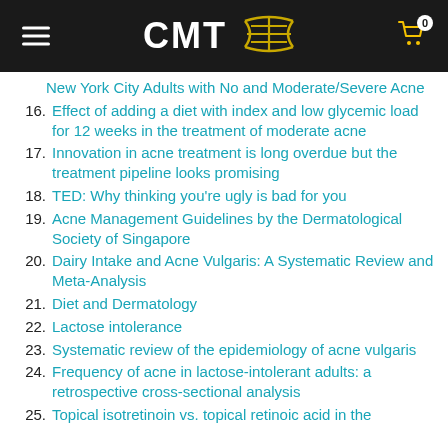CMT [DNA logo]
New York City Adults with No and Moderate/Severe Acne
16. Effect of adding a diet with index and low glycemic load for 12 weeks in the treatment of moderate acne
17. Innovation in acne treatment is long overdue but the treatment pipeline looks promising
18. TED: Why thinking you're ugly is bad for you
19. Acne Management Guidelines by the Dermatological Society of Singapore
20. Dairy Intake and Acne Vulgaris: A Systematic Review and Meta-Analysis
21. Diet and Dermatology
22. Lactose intolerance
23. Systematic review of the epidemiology of acne vulgaris
24. Frequency of acne in lactose-intolerant adults: a retrospective cross-sectional analysis
25. Topical isotretinoin vs. topical retinoic acid in the